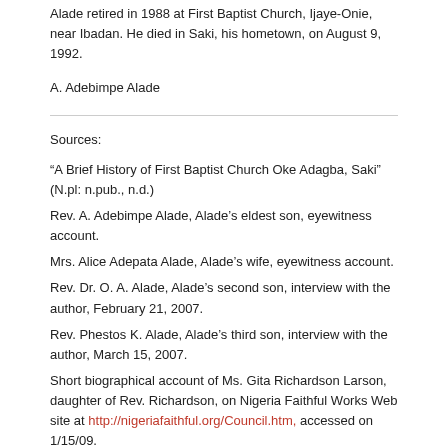Alade retired in 1988 at First Baptist Church, Ijaye-Onie, near Ibadan. He died in Saki, his hometown, on August 9, 1992.
A. Adebimpe Alade
Sources:
“A Brief History of First Baptist Church Oke Adagba, Saki” (N.pl: n.pub., n.d.)
Rev. A. Adebimpe Alade, Alade’s eldest son, eyewitness account.
Mrs. Alice Adepata Alade, Alade’s wife, eyewitness account.
Rev. Dr. O. A. Alade, Alade’s second son, interview with the author, February 21, 2007.
Rev. Phestos K. Alade, Alade’s third son, interview with the author, March 15, 2007.
Short biographical account of Ms. Gita Richardson Larson, daughter of Rev. Richardson, on Nigeria Faithful Works Web site at http://nigeriafaithful.org/Council.htm, accessed on 1/15/09.
This article, received in 2008, was researched and written by Rev. A. Adebimpe Alade, D.Min. final year candidate at the Nigerian Baptist Theological Seminary, Ogbomoso, and the second son of Rev. B.